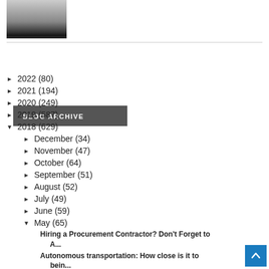[Figure (photo): A black and white photo of a road or surface with a horizon line, dark lower portion]
BLOG ARCHIVE
► 2022 (80)
► 2021 (194)
► 2020 (249)
► 2019 (587)
▼ 2018 (629)
► December (34)
► November (47)
► October (64)
► September (51)
► August (52)
► July (49)
► June (59)
▼ May (65)
Hiring a Procurement Contractor? Don't Forget to A...
Autonomous transportation: How close is it to bein...